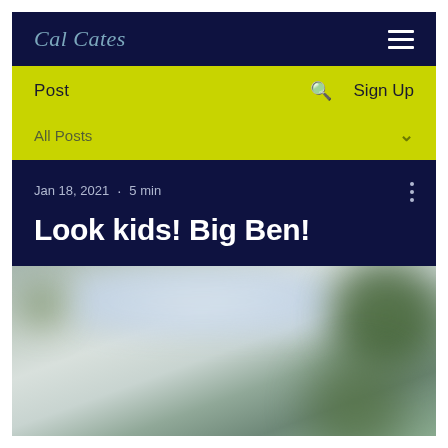Cal Cates
Post  Sign Up
All Posts
Jan 18, 2021 · 5 min
Look kids! Big Ben!
[Figure (photo): Blurry outdoor photograph with foliage and sky, used as article header image]